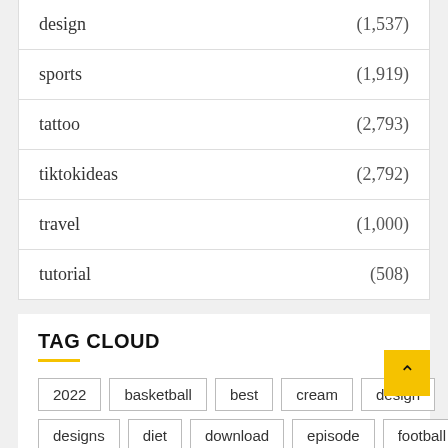design (1,537)
sports (1,919)
tattoo (2,793)
tiktokideas (2,792)
travel (1,000)
tutorial (508)
TAG CLOUD
2022  basketball  best  cream  design
designs  diet  download  episode  football